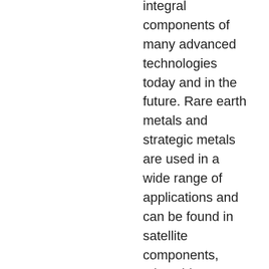integral components of many advanced technologies today and in the future. Rare earth metals and strategic metals are used in a wide range of applications and can be found in satellite components, microchips, LCD TVs, smartphones, aircraft, and rockets, as well as renewable energy technologies such as electric cars and wind turbines.
There are currently 17 rare earth metals on the periodic table: cerium, dysprosium, erbium, europium, gadolinium, holmium, lanthanum, lutetium, neodymium, praseodymium, promethium, samarium, scandium, terbium, thulium, ytterbium and yttrium.
There are also 27 elements considered strategic metals: antimony, arsenic, beryllium, bismuth, cadmium, chromium, cobalt, gallium, germanium, hafnium, indium, lithium, magnesium, manganese, molybdenum, niobium, rhenium, selenium,